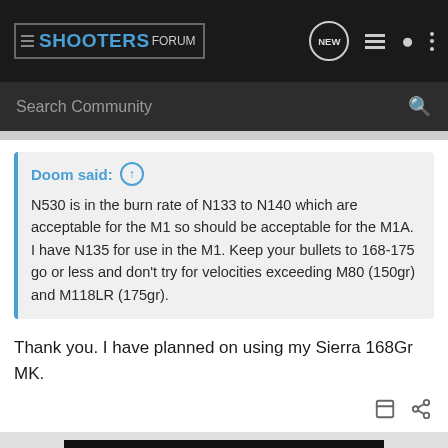SHOOTERS FORUM
Search Community
Doom said: ↑
N530 is in the burn rate of N133 to N140 which are acceptable for the M1 so should be acceptable for the M1A. I have N135 for use in the M1. Keep your bullets to 168-175 go or less and don't try for velocities exceeding M80 (150gr) and M118LR (175gr).
Thank you. I have planned on using my Sierra 168Gr MK.
[Figure (other): Bass Pro Shops Reloading Supplies advertisement banner with 'SHOP NOW' button]